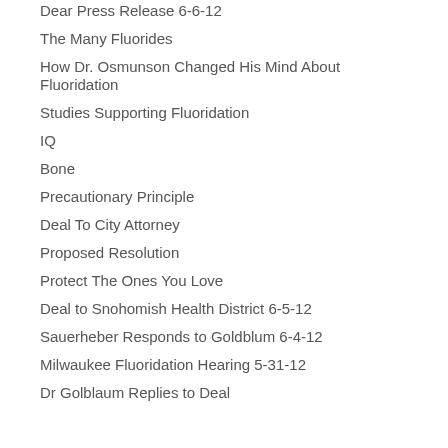Dear Press Release 6-6-12
The Many Fluorides
How Dr. Osmunson Changed His Mind About Fluoridation
Studies Supporting Fluoridation
IQ
Bone
Precautionary Principle
Deal To City Attorney
Proposed Resolution
Protect The Ones You Love
Deal to Snohomish Health District 6-5-12
Sauerheber Responds to Goldblum 6-4-12
Milwaukee Fluoridation Hearing 5-31-12
Dr Golblaum Replies to Deal